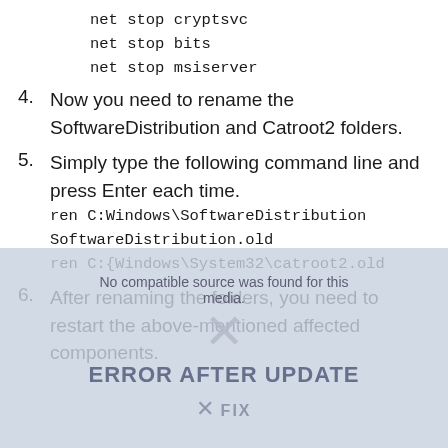net stop cryptsvc
net stop bits
net stop msiserver
4. Now you need to rename the SoftwareDistribution and Catroot2 folders.
5. Simply type the following command line and press Enter each time.
ren C:Windows\SoftwareDistribution SoftwareDistribution.old
ren C:{Windows\System32\catroot2.old
6. After renaming the folders, you need to restart the above-mentioned affected components.
[Figure (screenshot): Video player error overlay showing 'No compatible source was found for this media.' with an X icon and text 'ERROR AFTER UPDATE']